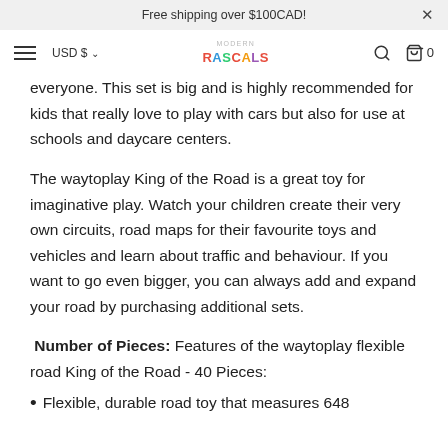Free shipping over $100CAD!
USD $  [nav] MODERN RASCALS  [search] [cart] 0
everyone. This set is big and is highly recommended for kids that really love to play with cars but also for use at schools and daycare centers.
The waytoplay King of the Road is a great toy for imaginative play. Watch your children create their very own circuits, road maps for their favourite toys and vehicles and learn about traffic and behaviour. If you want to go even bigger, you can always add and expand your road by purchasing additional sets.
Number of Pieces: Features of the waytoplay flexible road King of the Road - 40 Pieces:
Flexible, durable road toy that measures 648